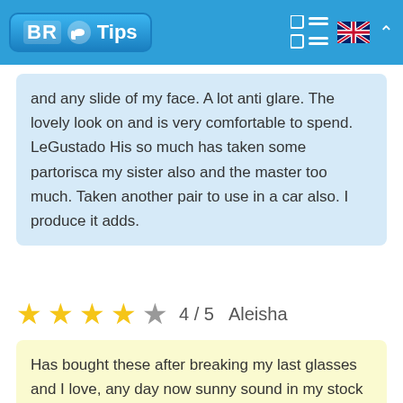BR Tips
and any slide of my face. A lot anti glare. The lovely look on and is very comfortable to spend. LeGustado His so much has taken some partorisca my sister also and the master too much. Taken another pair to use in a car also. I produce it adds.
4 / 5   Aleisha
Has bought these after breaking my last glasses and I love, any day now sunny sound in my stock exchange